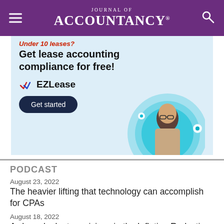Journal of Accountancy
[Figure (illustration): EZLease advertisement banner. Text reads 'Under 10 leases? Get lease accounting compliance for free!' with EZLease logo (checkmarks) and a 'Get started' button. Features a circular illustration of a woman with glasses.]
PODCAST
August 23, 2022
The heavier lifting that technology can accomplish for CPAs
August 18, 2022
A closer look at provisions in the Inflation Reduction Act